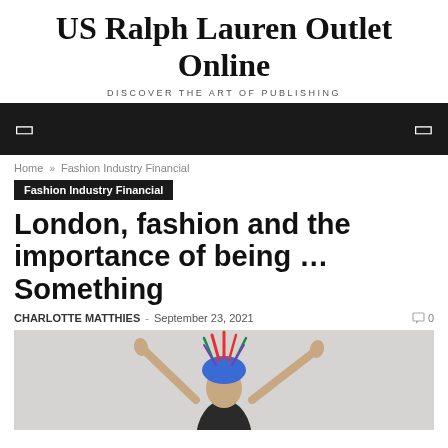US Ralph Lauren Outlet Online
DISCOVER THE ART OF PUBLISHING
[navigation bar]
Home » Fashion Industry Financial
Fashion Industry Financial
London, fashion and the importance of being … Something
CHARLOTTE MATTHIES - September 23, 2021 0
[Figure (photo): A person wearing a colorful feathered headpiece, with arms raised, photographed against a light grey background.]